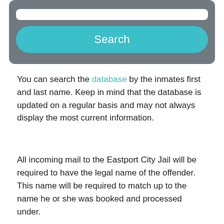[Figure (screenshot): A rounded grey search box interface with a white input bar and a teal/cyan Search button]
You can search the database by the inmates first and last name. Keep in mind that the database is updated on a regular basis and may not always display the most current information.
All incoming mail to the Eastport City Jail will be required to have the legal name of the offender. This name will be required to match up to the name he or she was booked and processed under.
You will also need to include on the envelope his or her